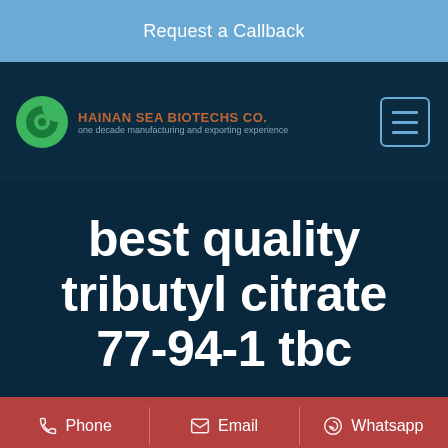Request a Callback
[Figure (logo): Green C-shaped logo with orange company name and tagline 'one decade manufacturing and exporting experience']
best quality tributyl citrate 77-94-1 tbc supplier